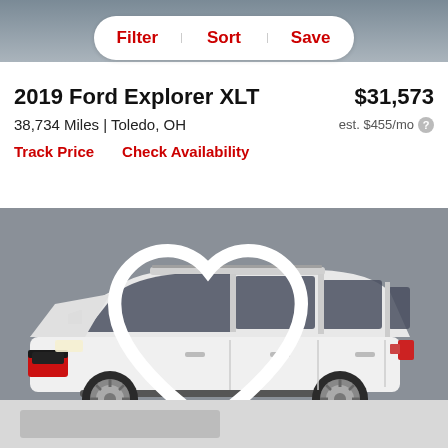[Figure (screenshot): Top portion of car image visible behind filter bar]
Filter  Sort  Save
2019 Ford Explorer XLT
$31,573
38,734 Miles | Toledo, OH
est. $455/mo
Track Price   Check Availability
[Figure (photo): Side profile photo of a white 2019 Ford Explorer XLT SUV parked against a gray wall, with a heart/save icon in the top right corner]
[Figure (photo): Bottom partial view of another car listing, blurred/cut off at page bottom]